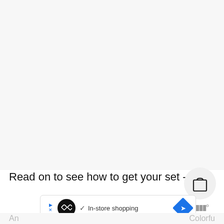[Figure (screenshot): Large light gray empty area occupying the top portion of the page, representing a blank or image-loading area of a webpage.]
Read on to see how to get your set -
[Figure (screenshot): Advertisement bar at the bottom showing an ad disclosure icon (play/x), a black circle icon with an infinity-like symbol, a checkmark with 'In-store shopping' text, and a blue diamond navigation icon on the right. Also partially visible Waze-like icon and partial text 'An...' and 'Colorfu...' at the very bottom.]